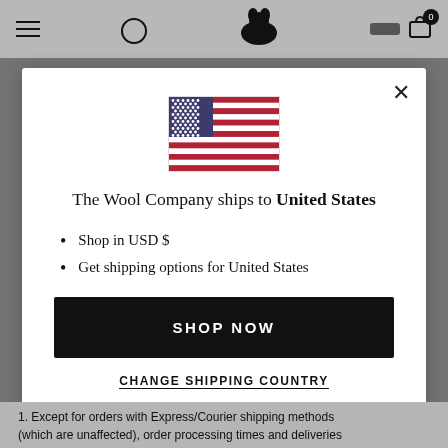[Figure (screenshot): Website navigation bar with hamburger menu, search icon, cow logo, account icon, and cart with 0 badge]
[Figure (illustration): United States flag icon]
The Wool Company ships to United States
Shop in USD $
Get shipping options for United States
SHOP NOW
CHANGE SHIPPING COUNTRY
1. Except for orders with Express/Courier shipping methods (which are unaffected), order processing times and deliveries